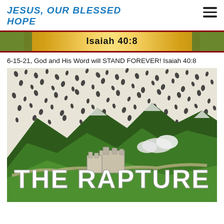JESUS, OUR BLESSED HOPE
[Figure (photo): Banner image for Isaiah 40:8 with golden gradient background, foliage on edges, and text 'Isaiah 40:8' in the center]
6-15-21, God and His Word will STAND FOREVER! Isaiah 40:8
[Figure (illustration): Illustration of The Rapture scene with dark sky filled with scattered black marks, green mountains, a castle/fortress structure, and large white bold text reading 'THE RAPTURE']